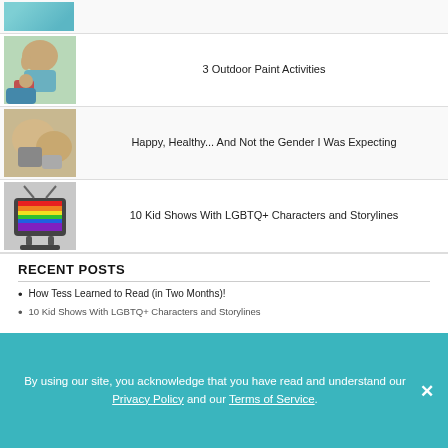[Figure (photo): Partial top row with a blue notebook/planner image, cropped]
[Figure (photo): Woman and child sitting outdoors, painting activity]
3 Outdoor Paint Activities
[Figure (photo): Two pugs sitting outdoors]
Happy, Healthy... And Not the Gender I Was Expecting
[Figure (photo): Vintage television displaying rainbow/LGBTQ+ flag on screen]
10 Kid Shows With LGBTQ+ Characters and Storylines
RECENT POSTS
How Tess Learned to Read (in Two Months)!
10 Kid Shows With LGBTQ+ Characters and Storylines
By using our site, you acknowledge that you have read and understand our Privacy Policy and our Terms of Service.